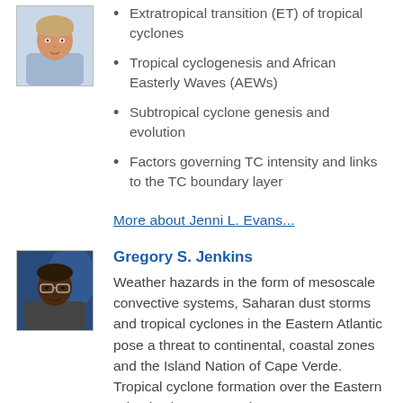[Figure (photo): Portrait photo of a woman (Jenni L. Evans) in a blue patterned top]
Extratropical transition (ET) of tropical cyclones
Tropical cyclogenesis and African Easterly Waves (AEWs)
Subtropical cyclone genesis and evolution
Factors governing TC intensity and links to the TC boundary layer
More about Jenni L. Evans...
[Figure (photo): Portrait photo of Gregory S. Jenkins, a man wearing glasses]
Gregory S. Jenkins
Weather hazards in the form of mesoscale convective systems, Saharan dust storms and tropical cyclones in the Eastern Atlantic pose a threat to continental, coastal zones and the Island Nation of Cape Verde. Tropical cyclone formation over the Eastern Atlantic also poses a threat to